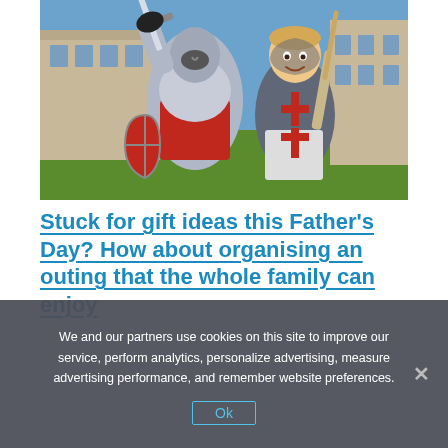[Figure (photo): A man dressed in knight armor with red surcoat raising a sword, standing next to a smiling young boy dressed in chainmail costume holding a stick, with a historic stone building and green lawn in the background.]
Stuck for gift ideas this Father's Day? How about organising an outing that the whole family can enjoy
We and our partners use cookies on this site to improve our service, perform analytics, personalize advertising, measure advertising performance, and remember website preferences.